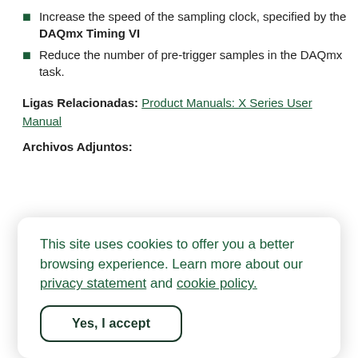Increase the speed of the sampling clock, specified by the DAQmx Timing VI
Reduce the number of pre-trigger samples in the DAQmx task.
Ligas Relacionadas: Product Manuals: X Series User Manual
Archivos Adjuntos:
This site uses cookies to offer you a better browsing experience. Learn more about our privacy statement and cookie policy.
Yes, I accept